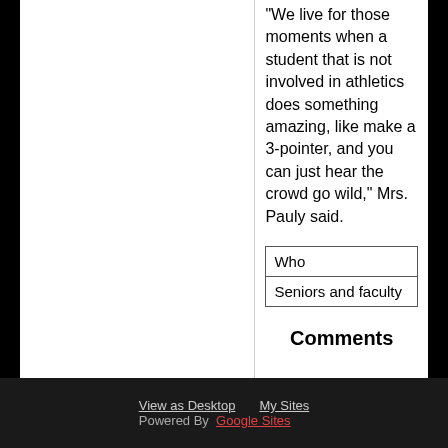"We live for those moments when a student that is not involved in athletics does something amazing, like make a 3-pointer, and you can just hear the crowd go wild," Mrs. Pauly said.
| Who |
| Seniors and faculty |
Comments
View as Desktop   My Sites   Powered By Google Sites